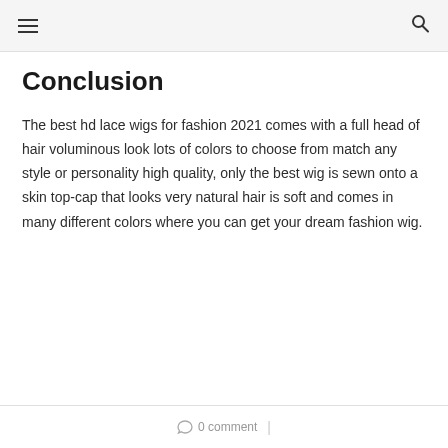≡  🔍
Conclusion
The best hd lace wigs for fashion 2021 comes with a full head of hair voluminous look lots of colors to choose from match any style or personality high quality, only the best wig is sewn onto a skin top-cap that looks very natural hair is soft and comes in many different colors where you can get your dream fashion wig.
0 comment